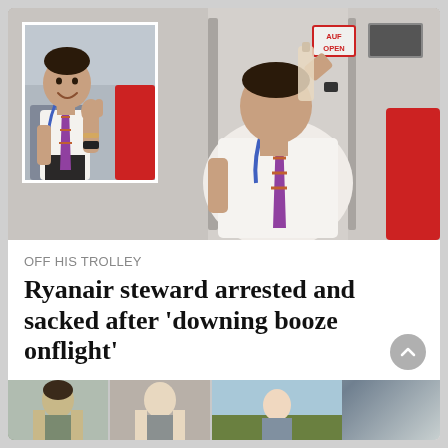[Figure (photo): Two photos: inset photo on left shows a male flight attendant in white shirt and striped tie smiling and giving a thumbs up gesture; main photo on right shows the same man in uniform drinking from a bottle on the aircraft, with an AUF OPEN sign visible in the background.]
OFF HIS TROLLEY
Ryanair steward arrested and sacked after 'downing booze onflight'
[Figure (photo): Bottom strip showing thumbnails of additional news story photos partially visible at the bottom of the page.]